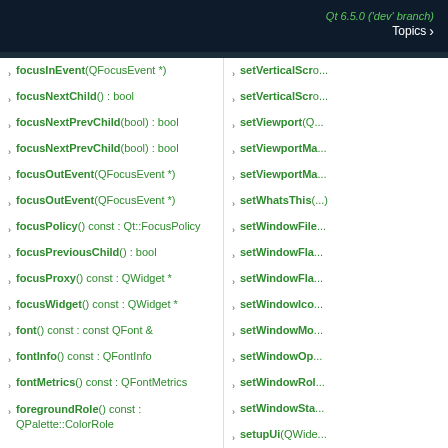Qt 6.5.0 ('dev' branch) Topics >
focusInEvent(QFocusEvent *)
focusNextChild() : bool
focusNextPrevChild(bool) : bool
focusNextPrevChild(bool) : bool
focusOutEvent(QFocusEvent *)
focusOutEvent(QFocusEvent *)
focusPolicy() const : Qt::FocusPolicy
focusPreviousChild() : bool
focusProxy() const : QWidget *
focusWidget() const : QWidget *
font() const : const QFont &
fontInfo() const : QFontInfo
fontMetrics() const : QFontMetrics
foregroundRole() const : QPalette::ColorRole
setVerticalScr...
setVerticalScr...
setViewport(Q...
setViewportMa...
setViewportMa...
setWhatsThis(...
setWindowFile...
setWindowFla...
setWindowFla...
setWindowIco...
setWindowMo...
setWindowOp...
setWindowRol...
setWindowSta...
setupUi(QWide...